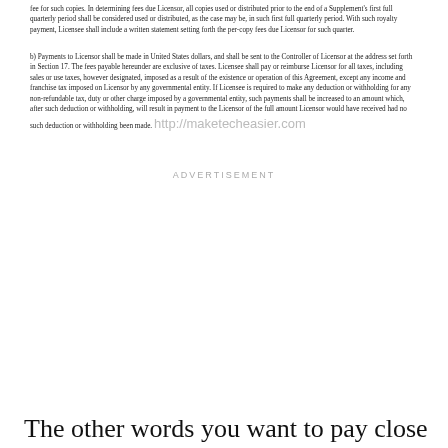fee for such copies. In determining fees due Licensor, all copies used or distributed prior to the end of a Supplement's first full quarterly period shall be considered used or distributed, as the case may be, in such first full quarterly period. With such royalty payment, Licensee shall include a written statement setting forth the per-copy fees due Licensor for such quarter.
b) Payments to Licensor shall be made in United States dollars, and shall be sent to the Controller of Licensor at the address set forth in Section 17. The fees payable hereunder are exclusive of taxes. Licensee shall pay or reimburse Licensor for all taxes, including sales or use taxes, however designated, imposed as a result of the existence or operation of this Agreement, except any income and franchise tax imposed on Licensor by any governmental entity. If Licensee is required to make any deduction or withholding for any non-refundable tax, duty or other charge imposed by a governmental entity, such payments shall be increased to an amount which, after such deduction or withholding, will result in payment to the Licensor of the full amount Licensor would have received had no such deduction or withholding been made.
[Figure (other): Advertisement placeholder with text ADVERTISEMENT]
The other words you want to pay close